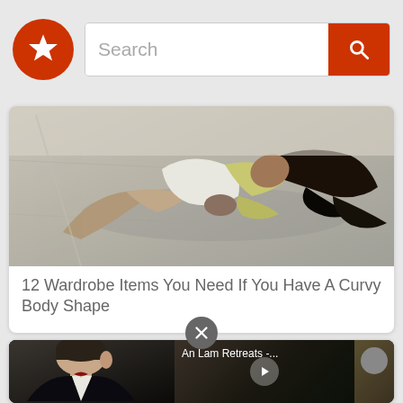Search bar with logo and search button
[Figure (screenshot): App header bar with orange star logo on left, search input field with placeholder text 'Search', and orange search button on right]
[Figure (photo): Woman lying on concrete ground, wearing white top and tan pants, with curly black hair spread out, photographed from above]
12 Wardrobe Items You Need If You Have A Curvy Body Shape
[Figure (screenshot): Video card showing a man in formal wear on the left, video player with title 'An Lam Retreats -...' and play button in center, and thumbnail on right]